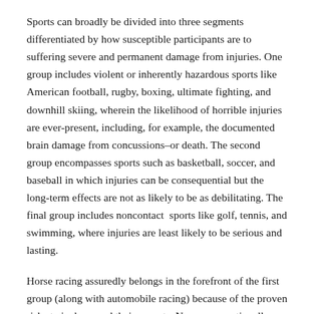Sports can broadly be divided into three segments differentiated by how susceptible participants are to suffering severe and permanent damage from injuries. One group includes violent or inherently hazardous sports like American football, rugby, boxing, ultimate fighting, and downhill skiing, wherein the likelihood of horrible injuries are ever-present, including, for example, the documented brain damage from concussions–or death. The second group encompasses sports such as basketball, soccer, and baseball in which injuries can be consequential but the long-term effects are not as likely to be as debilitating. The final group includes noncontact sports like golf, tennis, and swimming, where injuries are least likely to be serious and lasting.
Horse racing assuredly belongs in the forefront of the first group (along with automobile racing) because of the proven risks to jockeys and their mounts. No one can rationally argue with the high death-per-thousand starts for racehorses; the evidence is unassailable. The Jockey Club's Equine Injury Database contains statistics from over 1.5 million starts and the most recent analysis reveals that the fatality rate per thousand starts is 1.92. However, dirt surfaces have the worst fatality rate at 2.1 per thousand starts, followed by turf at 1.74, and